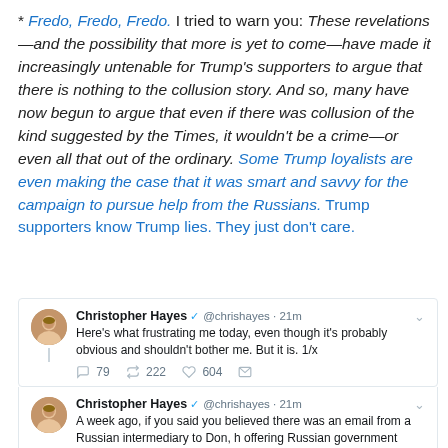* Fredo, Fredo, Fredo. I tried to warn you: These revelations—and the possibility that more is yet to come—have made it increasingly untenable for Trump's supporters to argue that there is nothing to the collusion story. And so, many have now begun to argue that even if there was collusion of the kind suggested by the Times, it wouldn't be a crime—or even all that out of the ordinary. Some Trump loyalists are even making the case that it was smart and savvy for the campaign to pursue help from the Russians. Trump supporters know Trump lies. They just don't care.
[Figure (screenshot): Two embedded tweet cards from @chrishayes (Christopher Hayes, verified). First tweet (21m ago): 'Here's what frustrating me today, even though it's probably obvious and shouldn't bother me. But it is. 1/x' with 79 replies, 222 retweets, 604 likes. Second tweet (21m ago): 'A week ago, if you said you believed there was an email from a Russian intermediary to Don, h offering Russian government support...' (truncated). The two tweets are connected by a thread line.]